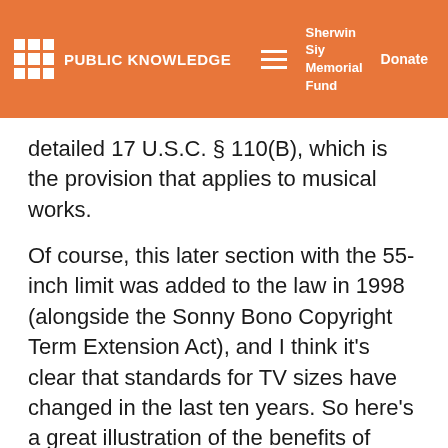PUBLIC KNOWLEDGE | Sherwin Siy Memorial Fund | Donate
detailed 17 U.S.C. § 110(B), which is the provision that applies to musical works.
Of course, this later section with the 55-inch limit was added to the law in 1998 (alongside the Sonny Bono Copyright Term Extension Act), and I think it's clear that standards for TV sizes have changed in the last ten years. So here's a great illustration of the benefits of having relatively clear, yet flexible standards in the law.